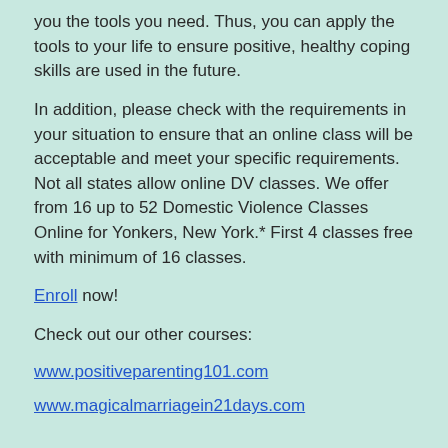you the tools you need. Thus, you can apply the tools to your life to ensure positive, healthy coping skills are used in the future.
In addition, please check with the requirements in your situation to ensure that an online class will be acceptable and meet your specific requirements. Not all states allow online DV classes. We offer from 16 up to 52 Domestic Violence Classes Online for Yonkers, New York.* First 4 classes free with minimum of 16 classes.
Enroll now!
Check out our other courses:
www.positiveparenting101.com
www.magicalmarriagein21days.com